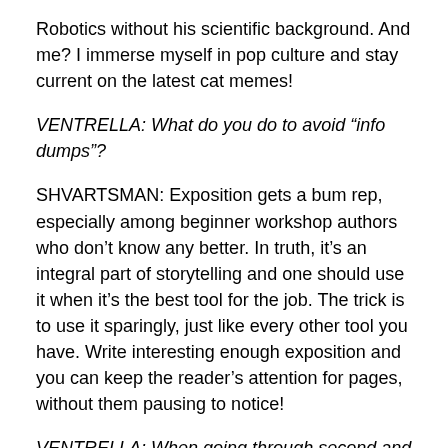Robotics without his scientific background. And me? I immerse myself in pop culture and stay current on the latest cat memes!
VENTRELLA: What do you do to avoid “info dumps”?
SHVARTSMAN: Exposition gets a bum rep, especially among beginner workshop authors who don’t know any better. In truth, it’s an integral part of storytelling and one should use it when it’s the best tool for the job. The trick is to use it sparingly, just like every other tool you have. Write interesting enough exposition and you can keep the reader’s attention for pages, without them pausing to notice!
VENTRELLA: When going through second and third drafts, what do you look for? What is your main goal?